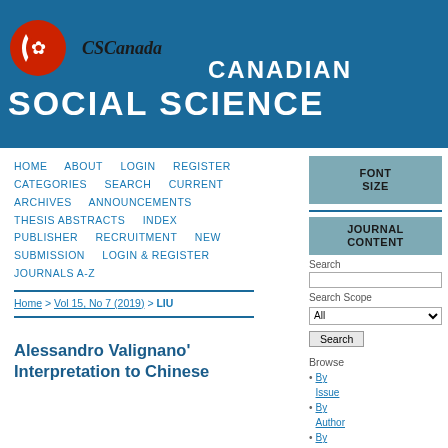[Figure (logo): CSCanada logo with red circle and maple leaf, beside italic bold text 'CSCanada']
CANADIAN SOCIAL SCIENCE
HOME   ABOUT   LOGIN   REGISTER
CATEGORIES   SEARCH   CURRENT
ARCHIVES   ANNOUNCEMENTS
THESIS ABSTRACTS   INDEX
PUBLISHER   RECRUITMENT   NEW SUBMISSION   LOGIN & REGISTER
JOURNALS A-Z
Home > Vol 15, No 7 (2019) > LIU
Alessandro Valignano' Interpretation to Chinese
FONT SIZE
JOURNAL CONTENT
Search
Search Scope
All
Search
Browse
By Issue
By Author
By Title
By